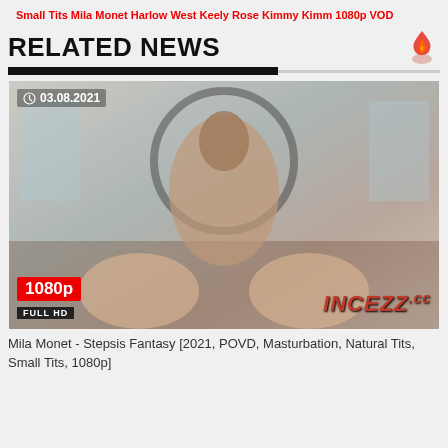Small Tits Mila Monet Harlow West Keely Rose Kimmy Kimm 1080p VOD
RELATED NEWS
[Figure (photo): Video thumbnail showing bedroom scene, date overlay '03.08.2021', 1080p FULL HD badge, INCEZZ.cc watermark]
Mila Monet - Stepsis Fantasy [2021, POVD, Masturbation, Natural Tits, Small Tits, 1080p]